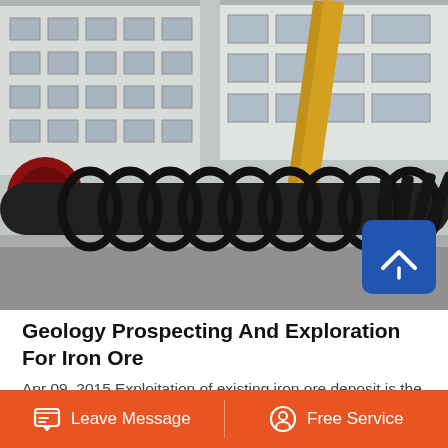[Figure (photo): Outdoor industrial photo showing a large auger/screw conveyor lying on the ground in front of a warehouse building, with a yellow crane arm visible in the background]
Geology Prospecting And Exploration For Iron Ore
Apr 09, 2015 Exploitation of existing iron ore deposit is the easier part of the mining operations. The harder part is to find new ore deposits and to